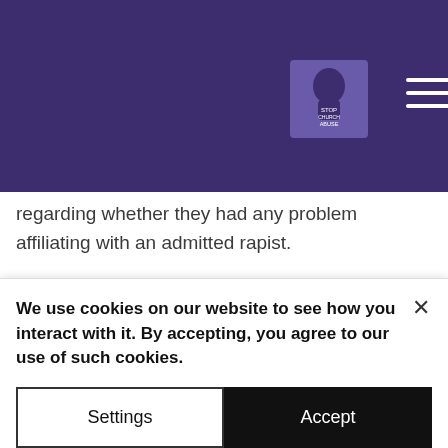Stop Church Abuse — navigation bar with logo
regarding whether they had any problem affiliating with an admitted rapist.
North Love Baptist Church still supports and shelters DeVall. The church also refuses to acknowledge the abuse. As of this writing, over twenty victims are working with law enforcement to hold these abusers and enablers of abusers
We use cookies on our website to see how you interact with it. By accepting, you agree to our use of such cookies.